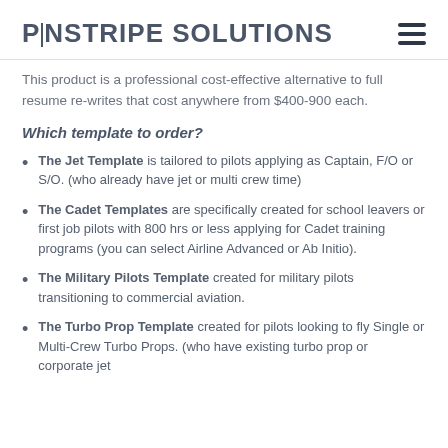PINSTRIPE SOLUTIONS
This product is a professional cost-effective alternative to full resume re-writes that cost anywhere from $400-900 each.
Which template to order?
The Jet Template is tailored to pilots applying as Captain, F/O or S/O. (who already have jet or multi crew time)
The Cadet Templates are specifically created for school leavers or first job pilots with 800 hrs or less applying for Cadet training programs (you can select Airline Advanced or Ab Initio).
The Military Pilots Template created for military pilots transitioning to commercial aviation.
The Turbo Prop Template created for pilots looking to fly Single or Multi-Crew Turbo Props. (who have existing turbo prop or corporate jet